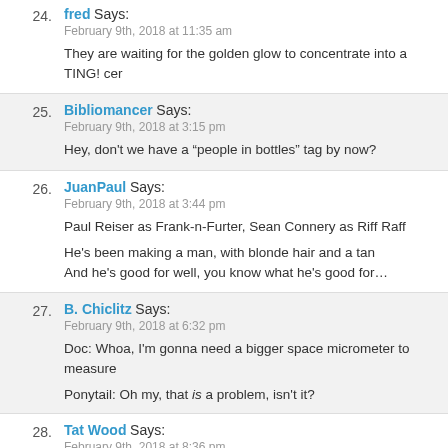24. fred Says: February 9th, 2018 at 11:35 am — They are waiting for the golden glow to concentrate into a TING! cer…
25. Bibliomancer Says: February 9th, 2018 at 3:15 pm — Hey, don't we have a “people in bottles” tag by now?
26. JuanPaul Says: February 9th, 2018 at 3:44 pm — Paul Reiser as Frank-n-Furter, Sean Connery as Riff Raff

He's been making a man, with blonde hair and a tan
And he's good for well, you know what he's good for…
27. B. Chiclitz Says: February 9th, 2018 at 6:32 pm — Doc: Whoa, I'm gonna need a bigger space micrometer to measure…

Ponytail: Oh my, that is a problem, isn't it?
28. Tat Wood Says: February 9th, 2018 at 8:36 pm